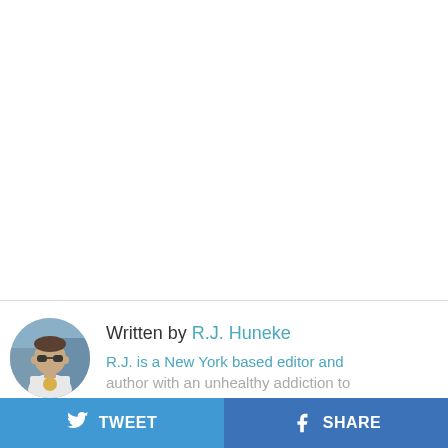[Figure (photo): Circular author profile photo of R.J. Huneke, a man wearing sunglasses and a white t-shirt, outdoors with a blurred background]
Written by R.J. Huneke
R.J. is a New York based editor and author with an unhealthy addiction to emerging gadgetry and robotics. You
TWEET
SHARE